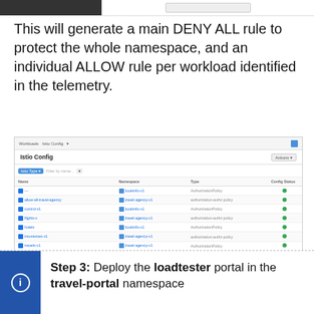[Figure (screenshot): Top bar / header area of a document page (dark bar on left, white bar on right)]
This will generate a main DENY ALL rule to protect the whole namespace, and an individual ALLOW rule per workload identified in the telemetry.
[Figure (screenshot): IstioConfig UI table listing Istio configurations with columns: Name, Namespace, Type, Config Status. Multiple rows with blue link text and green status dots.]
Step 3: Deploy the loadtester portal in the travel-portal namespace